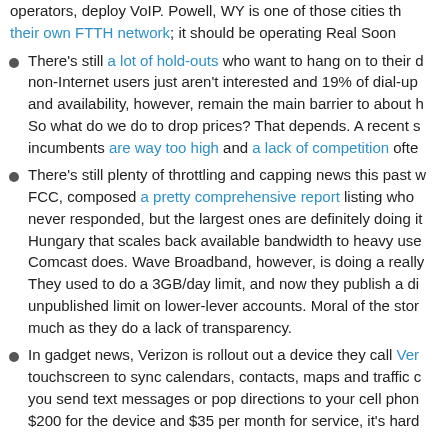operators, deploy VoIP. Powell, WY is one of those cities that built their own FTTH network; it should be operating Real Soon Now.
There's still a lot of hold-outs who want to hang on to their dial-up. 35% of non-Internet users just aren't interested and 19% of dial-up ... and availability, however, remain the main barrier to about half. So what do we do to drop prices? That depends. A recent study found that incumbents are way too high and a lack of competition often...
There's still plenty of throttling and capping news this past week... FCC, composed a pretty comprehensive report listing who ... never responded, but the largest ones are definitely doing it... Hungary that scales back available bandwidth to heavy use... Comcast does. Wave Broadband, however, is doing a really... They used to do a 3GB/day limit, and now they publish a di... unpublished limit on lower-lever accounts. Moral of the stor... much as they do a lack of transparency.
In gadget news, Verizon is rollout out a device they call Ver... touchscreen to sync calendars, contacts, maps and traffic c... you send text messages or pop directions to your cell phon... $200 for the device and $35 per month for service, it's hard...